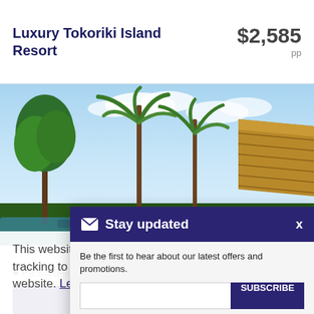Luxury Tokoriki Island Resort
$2,585
pp
[Figure (photo): Tropical scene with palm trees, blue sky and a thatched roof structure at a Fijian island resort]
Stay updated
Be the first to hear about our latest offers and promotions.
SUBSCRIBE
View our Privacy Policy
This website uses cookies and Google Analytics tracking to ensure you get the best experience on our website. Learn more
Got it!
Pacific (Fiji)
Enjoy secluded luxury in Fijian paradise.
FIND OUT MORE